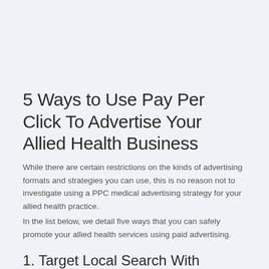5 Ways to Use Pay Per Click To Advertise Your Allied Health Business
While there are certain restrictions on the kinds of advertising formats and strategies you can use, this is no reason not to investigate using a PPC medical advertising strategy for your allied health practice.
In the list below, we detail five ways that you can safely promote your allied health services using paid advertising.
1. Target Local Search With Keywords